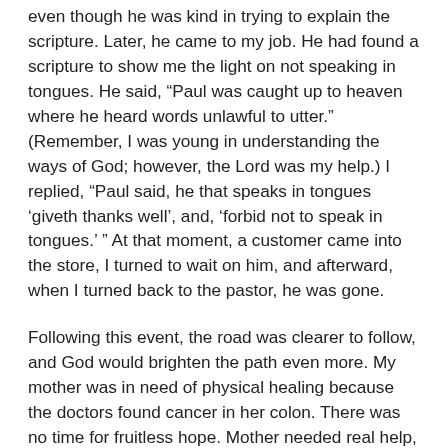even though he was kind in trying to explain the scripture. Later, he came to my job. He had found a scripture to show me the light on not speaking in tongues. He said, “Paul was caught up to heaven where he heard words unlawful to utter.” (Remember, I was young in understanding the ways of God; however, the Lord was my help.) I replied, “Paul said, he that speaks in tongues ‘giveth thanks well’, and, ‘forbid not to speak in tongues.’ ” At that moment, a customer came into the store, I turned to wait on him, and afterward, when I turned back to the pastor, he was gone.
Following this event, the road was clearer to follow, and God would brighten the path even more. My mother was in need of physical healing because the doctors found cancer in her colon. There was no time for fruitless hope. Mother needed real help, and help was on the way. My aunts were in contact with me concerning my mother. They were nurses and had inside direction for the best assistance, plus God was very much a part of their lives. Mother knew